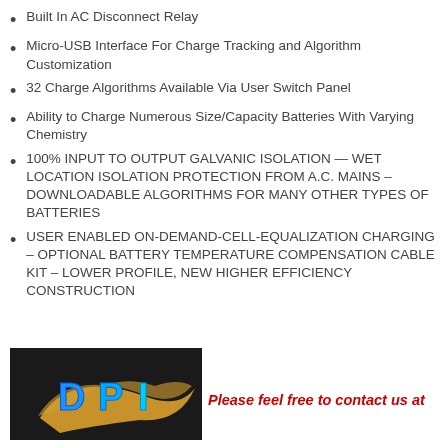Built In AC Disconnect Relay
Micro-USB Interface For Charge Tracking and Algorithm Customization
32 Charge Algorithms Available Via User Switch Panel
Ability to Charge Numerous Size/Capacity Batteries With Varying Chemistry
100% INPUT TO OUTPUT GALVANIC ISOLATION — WET LOCATION ISOLATION PROTECTION FROM A.C. MAINS – DOWNLOADABLE ALGORITHMS FOR MANY OTHER TYPES OF BATTERIES
USER ENABLED ON-DEMAND-CELL-EQUALIZATION CHARGING – OPTIONAL BATTERY TEMPERATURE COMPENSATION CABLE KIT – LOWER PROFILE, NEW HIGHER EFFICIENCY CONSTRUCTION
[Figure (logo): DPI logo on dark background — gold swoosh with cyan/blue DPI text]
Please feel free to contact us at